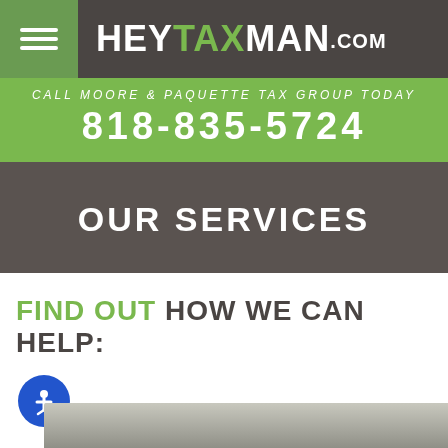HEYTAXMAN.COM
CALL MOORE & PAQUETTE TAX GROUP TODAY
818-835-5724
OUR SERVICES
FIND OUT HOW WE CAN HELP:
[Figure (photo): Bottom portion of a photo showing a person, partially visible, gray/muted tones]